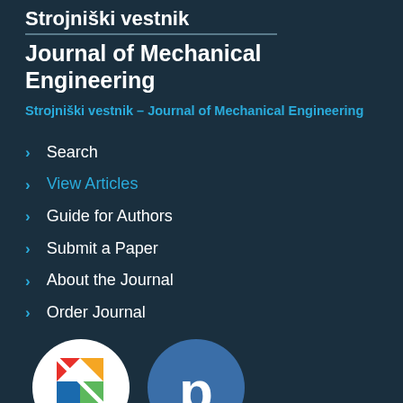Strojniški vestnik
Journal of Mechanical Engineering
Strojniški vestnik – Journal of Mechanical Engineering
Search
View Articles
Guide for Authors
Submit a Paper
About the Journal
Order Journal
[Figure (logo): Crossref logo - circular white badge with colored geometric shapes and 'Crossref' text]
[Figure (logo): Publons logo - circular dark blue badge with white lowercase 'p']